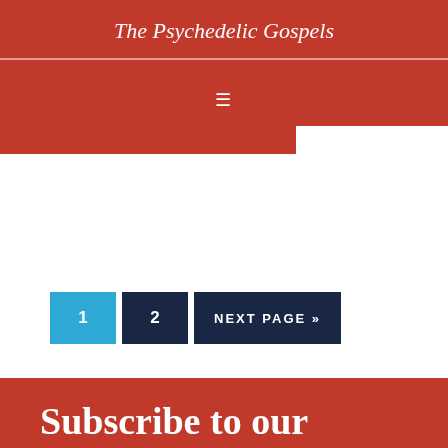The Psychedelic Gospels
[Figure (screenshot): Navigation bar with hamburger menu icon on red background, with a dropdown shape extending below]
1  2  NEXT PAGE »
Subscribe to our newsletter